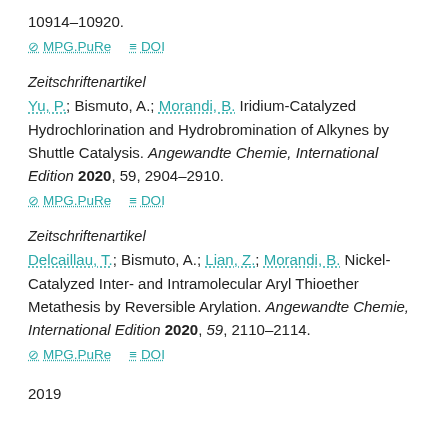10914–10920.
⊘ MPG.PuRe  ≡ DOI
Zeitschriftenartikel
Yu, P.; Bismuto, A.; Morandi, B. Iridium-Catalyzed Hydrochlorination and Hydrobromination of Alkynes by Shuttle Catalysis. Angewandte Chemie, International Edition 2020, 59, 2904–2910.
⊘ MPG.PuRe  ≡ DOI
Zeitschriftenartikel
Delcaillau, T.; Bismuto, A.; Lian, Z.; Morandi, B. Nickel-Catalyzed Inter- and Intramolecular Aryl Thioether Metathesis by Reversible Arylation. Angewandte Chemie, International Edition 2020, 59, 2110–2114.
⊘ MPG.PuRe  ≡ DOI